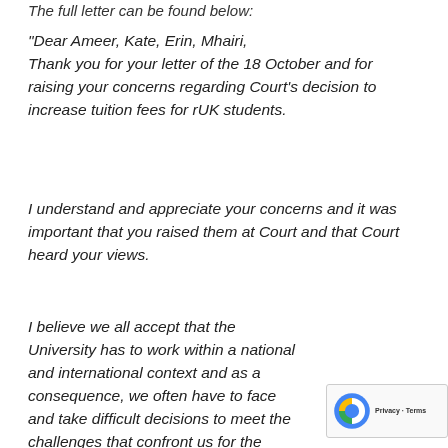The full letter can be found below:
“Dear Ameer, Kate, Erin, Mhairi, Thank you for your letter of the 18 October and for raising your concerns regarding Court’s decision to increase tuition fees for rUK students.
I understand and appreciate your concerns and it was important that you raised them at Court and that Court heard your views.
I believe we all accept that the University has to work within a national and international context and as a consequence, we often have to face and take difficult decisions to meet the challenges that confront us for the benefit of the University. We accept you do not welcome the increase in rUK